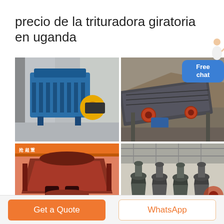precio de la trituradora giratoria en uganda
[Figure (photo): Four-panel photo collage of industrial crushers and mining equipment: top-left shows a blue impact crusher in a factory, top-right shows a vibrating screen with aggregate material, bottom-left shows a close-up of a gyratory crusher top frame component in red/rust color, bottom-right shows a row of cone crushers in a manufacturing facility.]
Free chat
Get a Quote
WhatsApp